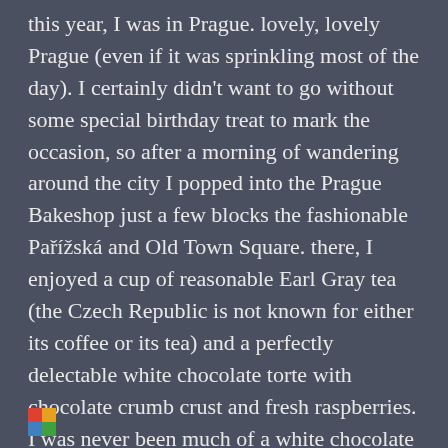this year, I was in Prague. lovely, lovely Prague (even if it was sprinkling most of the day). I certainly didn't want to go without some special birthday treat to mark the occasion, so after a morning of wandering around the city I popped into the Prague Bakeshop just a few blocks the fashionable Pařížská and Old Town Square. there, I enjoyed a cup of reasonable Earl Gray tea (the Czech Republic is not known for either its coffee or its tea) and a perfectly delectable white chocolate torte with chocolate crumb crust and fresh raspberries. I was never been much of a white chocolate person, but I do believe the Czech Republic might have me swayed in its favor now and forever.
[Figure (illustration): Small colorful icon or logo at the bottom left of the page]